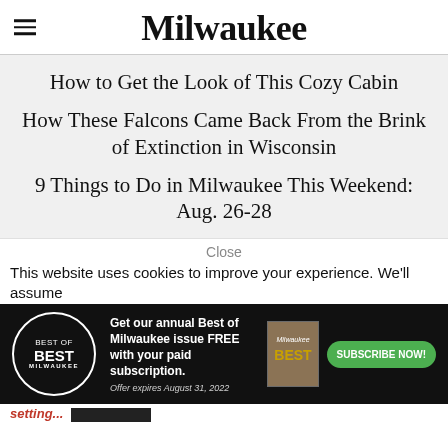Milwaukee
How to Get the Look of This Cozy Cabin
How These Falcons Came Back From the Brink of Extinction in Wisconsin
9 Things to Do in Milwaukee This Weekend: Aug. 26-28
Close
This website uses cookies to improve your experience. We'll assume
[Figure (infographic): Best of Milwaukee advertisement banner with logo, magazine cover, subscription offer text, and green Subscribe Now button]